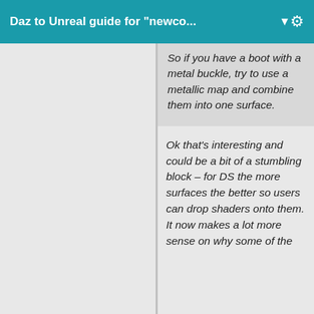Daz to Unreal guide for "newco...
So if you have a boot with a metal buckle, try to use a metallic map and combine them into one surface.
Ok that’s interesting and could be a bit of a stumbling block - for DS the more surfaces the better so users can drop shaders onto them. It now makes a lot more sense on why some of the